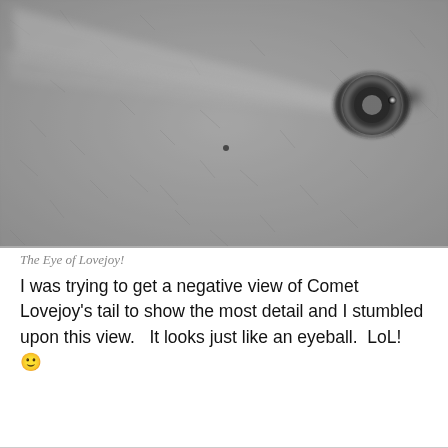[Figure (photo): Grayscale astronomical image of Comet Lovejoy showing a bright nucleus with a halo and a long tail extending to the left, resembling an eyeball shape. The background is a mottled gray.]
The Eye of Lovejoy!
I was trying to get a negative view of Comet Lovejoy’s tail to show the most detail and I stumbled upon this view.   It looks just like an eyeball.  LoL!  🙂